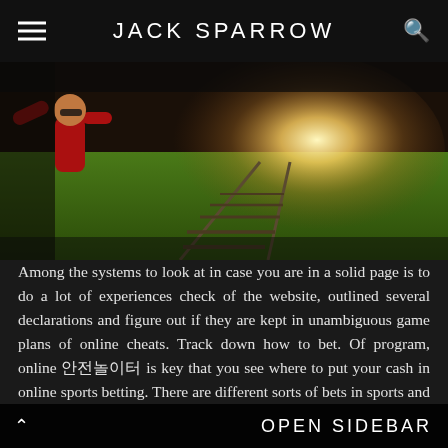JACK SPARROW
[Figure (photo): Photo of a person in a red jacket on a sports field with green grass, backlit by golden sunlight, with railway tracks in the foreground]
Among the systems to look at in case you are in a solid page is to do a lot of experiences check of the website, outlined several declarations and figure out if they are kept in unambiguous game plans of online cheats. Track down how to bet. Of program, online 안전놀이터 is key that you see where to put your cash in online sports betting. There are different sorts of bets in sports and in addition seeing all of them is a remarkable start furthermore a sharp exchange to can see where you will have more consequences of winning. Such bet that have more observable pot rates
OPEN SIDEBAR